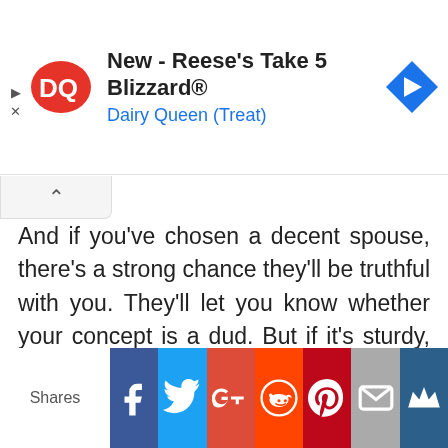[Figure (screenshot): Dairy Queen advertisement banner showing DQ logo, text 'New - Reese's Take 5 Blizzard®' and 'Dairy Queen (Treat)', with a blue navigation arrow icon on the right, and play/close icons on the left.]
And if you've chosen a decent spouse, there's a strong chance they'll be truthful with you. They'll let you know whether your concept is a dud. But if it's sturdy, that's fantastic! You now have someone to assist you in developing it.
5. Possibility of entering new markets
Your brand may now reach a larger range
[Figure (infographic): Social sharing bar with buttons for Facebook, Twitter, Google+, Reddit, Pinterest, Email, and a crown/bookmark icon. 'Shares' label on the left.]